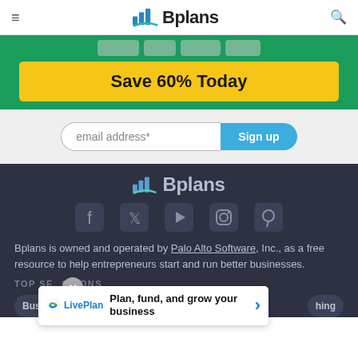Bplans
Save 60% Today
email address*  Sign up
[Figure (logo): Bplans logo in white/grey on dark background]
[Figure (infographic): Social media icons: Facebook, Twitter, YouTube, Instagram, Pinterest]
Bplans is owned and operated by Palo Alto Software, Inc., as a free resource to help entrepreneurs start and run better businesses.
TOP SECTIONS
[Figure (screenshot): LivePlan banner: Plan, fund, and grow your business]
Plan, fund, and grow your business